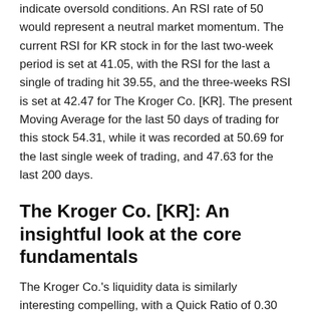indicate oversold conditions. An RSI rate of 50 would represent a neutral market momentum. The current RSI for KR stock in for the last two-week period is set at 41.05, with the RSI for the last a single of trading hit 39.55, and the three-weeks RSI is set at 42.47 for The Kroger Co. [KR]. The present Moving Average for the last 50 days of trading for this stock 54.31, while it was recorded at 50.69 for the last single week of trading, and 47.63 for the last 200 days.
The Kroger Co. [KR]: An insightful look at the core fundamentals
The Kroger Co.'s liquidity data is similarly interesting compelling, with a Quick Ratio of 0.30 and a Current Ratio set at 0.70.
Earnings per share (EPS) analysis for The Kroger Co. [KR] stock